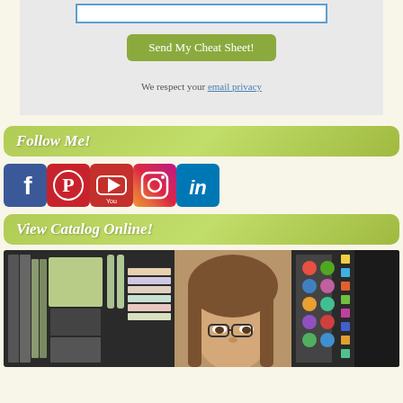[Figure (screenshot): Email opt-in form area with input box, green 'Send My Cheat Sheet!' button, and privacy text]
We respect your email privacy
Follow Me!
[Figure (infographic): Row of social media icons: Facebook (blue), Pinterest (red), YouTube (red), Instagram (pink/purple), LinkedIn (blue)]
View Catalog Online!
[Figure (photo): Photo of a woman surrounded by craft supply storage shelves filled with stamps, inks, and papers]